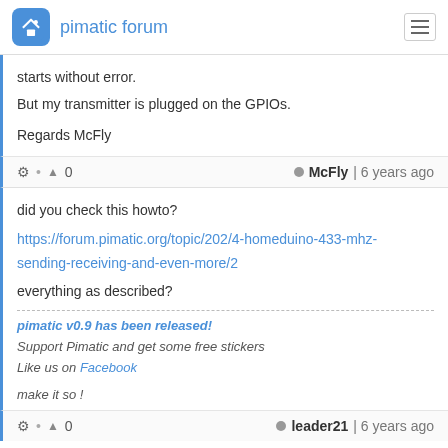pimatic forum
starts without error.
But my transmitter is plugged on the GPIOs.

Regards McFly
⚙ • ▲ 0   ● McFly | 6 years ago
did you check this howto?
https://forum.pimatic.org/topic/202/4-homeduino-433-mhz-sending-receiving-and-even-more/2
everything as described?
pimatic v0.9 has been released!
Support Pimatic and get some free stickers
Like us on Facebook
make it so !
⚙ • ▲ 0   ● leader21 | 6 years ago